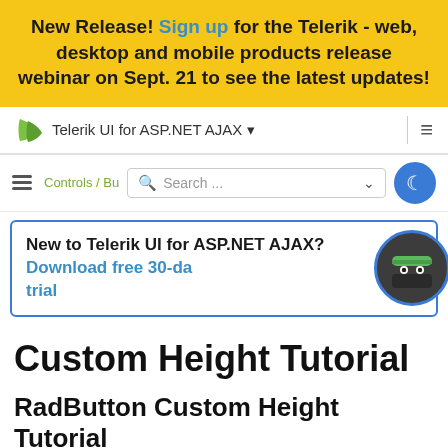New Release! Sign up for the Telerik - web, desktop and mobile products release webinar on Sept. 21 to see the latest updates!
[Figure (screenshot): Telerik UI for ASP.NET AJAX navigation bar with logo, product name dropdown, and hamburger menu]
[Figure (screenshot): Search bar with breadcrumb Controls/Bu, search input, and dark mode moon button]
[Figure (screenshot): Promotional box: New to Telerik UI for ASP.NET AJAX? Download free 30-day trial, with ninja avatar]
Custom Height Tutorial
RadButton Custom Height Tutorial